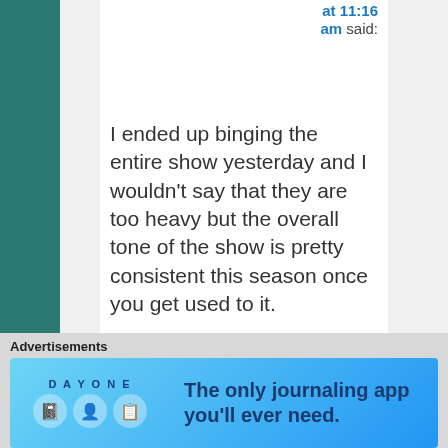at 11:16 am said:
I ended up binging the entire show yesterday and I wouldn't say that they are too heavy but the overall tone of the show is pretty consistent this season once you get used to it.
Advertisements
[Figure (screenshot): Day One journaling app advertisement banner with icons and tagline: The only journaling app you'll ever need.]